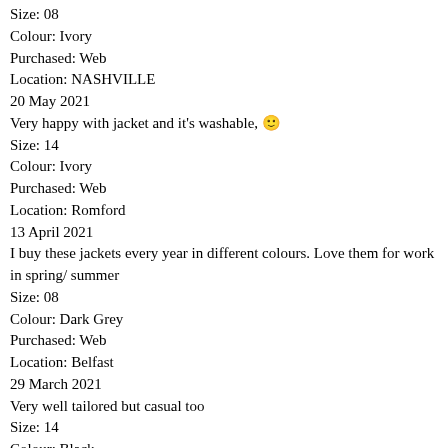Size: 08
Colour: Ivory
Purchased: Web
Location: NASHVILLE
20 May 2021
Very happy with jacket and it's washable, 🙂
Size: 14
Colour: Ivory
Purchased: Web
Location: Romford
13 April 2021
I buy these jackets every year in different colours. Love them for work in spring/ summer
Size: 08
Colour: Dark Grey
Purchased: Web
Location: Belfast
29 March 2021
Very well tailored but casual too
Size: 14
Colour: Black
Purchased: Web
Location: Liverpool
26 March 2021
Just love this jacket - have another 4 in other colours. So versatile